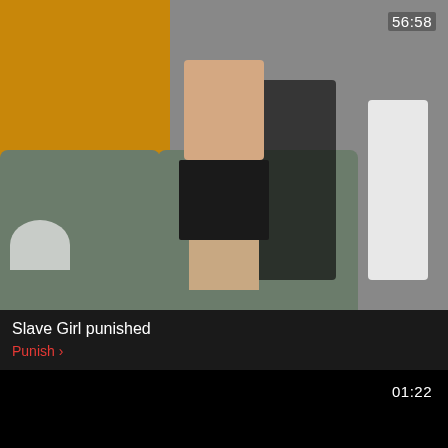[Figure (screenshot): Video thumbnail showing figures in a living room setting, duration 56:58]
Slave Girl punished
Punish ›
[Figure (screenshot): Dark/black video thumbnail with duration 01:22]